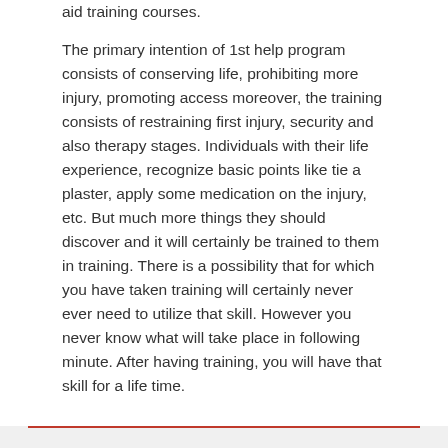aid training courses.
The primary intention of 1st help program consists of conserving life, prohibiting more injury, promoting access moreover, the training consists of restraining first injury, security and also therapy stages. Individuals with their life experience, recognize basic points like tie a plaster, apply some medication on the injury, etc. But much more things they should discover and it will certainly be trained to them in training. There is a possibility that for which you have taken training will certainly never ever need to utilize that skill. However you never know what will take place in following minute. After having training, you will have that skill for a life time.
Recent Posts
Despite.heme Efforts, The Legislature Passed A Map
Headline: Terms of Accountability Passed for Mein The